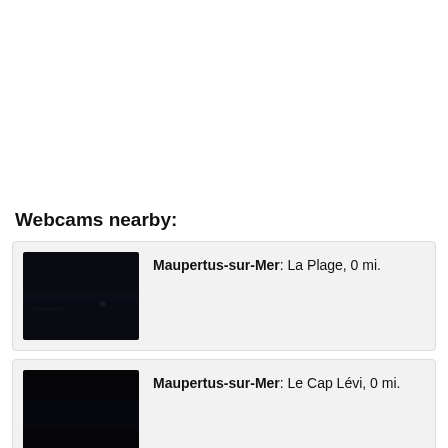Webcams nearby:
Maupertus-sur-Mer: La Plage, 0 mi.
Maupertus-sur-Mer: Le Cap Lévi, 0 mi.
Cherbourg-Octeville: City Panotama, 6.1 mi.